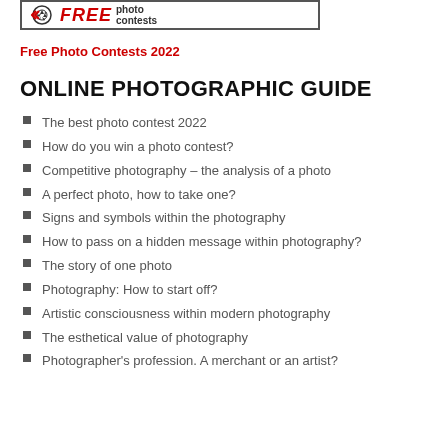[Figure (logo): Free Photo Contests banner with camera shutter logo icon, bold red FREE text, and 'photo contests' text]
Free Photo Contests 2022
ONLINE PHOTOGRAPHIC GUIDE
The best photo contest 2022
How do you win a photo contest?
Competitive photography – the analysis of a photo
A perfect photo, how to take one?
Signs and symbols within the photography
How to pass on a hidden message within photography?
The story of one photo
Photography: How to start off?
Artistic consciousness within modern photography
The esthetical value of photography
Photographer's profession. A merchant or an artist?